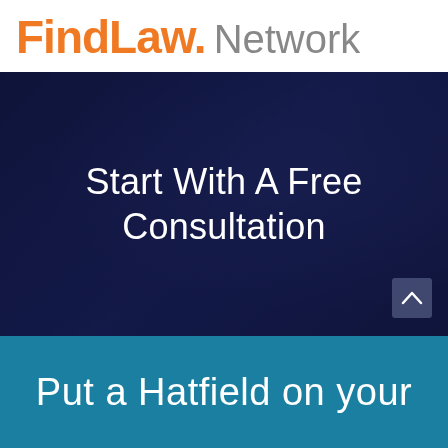[Figure (logo): FindLaw Network logo — 'FindLaw.' in bold orange text and 'Network' in light gray]
[Figure (photo): Dark navy blue hero banner with blurred background image, containing centered white text 'Start With A Free Consultation' and a scroll-up arrow button in the bottom right corner]
Put a Hatfield on your